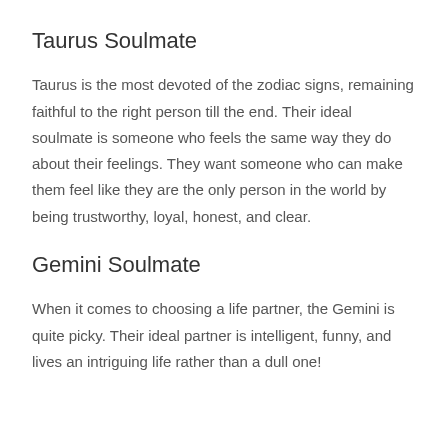Taurus Soulmate
Taurus is the most devoted of the zodiac signs, remaining faithful to the right person till the end. Their ideal soulmate is someone who feels the same way they do about their feelings. They want someone who can make them feel like they are the only person in the world by being trustworthy, loyal, honest, and clear.
Gemini Soulmate
When it comes to choosing a life partner, the Gemini is quite picky. Their ideal partner is intelligent, funny, and lives an intriguing life rather than a dull one!